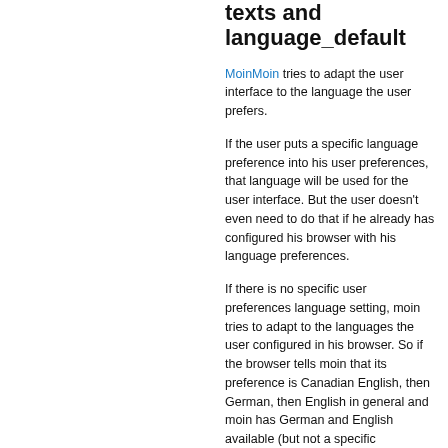texts and language_default
MoinMoin tries to adapt the user interface to the language the user prefers.
If the user puts a specific language preference into his user preferences, that language will be used for the user interface. But the user doesn't even need to do that if he already has configured his browser with his language preferences.
If there is no specific user preferences language setting, moin tries to adapt to the languages the user configured in his browser. So if the browser tells moin that its preference is Canadian English, then German, then English in general and moin has German and English available (but not a specific configuration